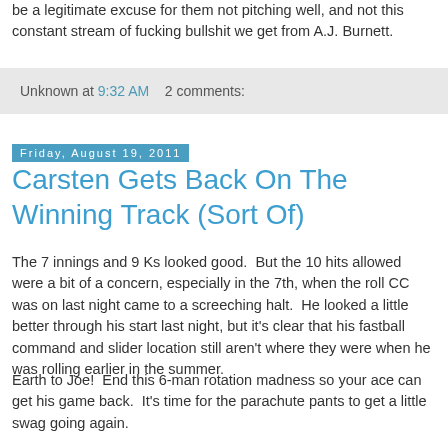be a legitimate excuse for them not pitching well, and not this constant stream of fucking bullshit we get from A.J. Burnett.
Unknown at 9:32 AM   2 comments:
Friday, August 19, 2011
Carsten Gets Back On The Winning Track (Sort Of)
The 7 innings and 9 Ks looked good.  But the 10 hits allowed were a bit of a concern, especially in the 7th, when the roll CC was on last night came to a screeching halt.  He looked a little better through his start last night, but it's clear that his fastball command and slider location still aren't where they were when he was rolling earlier in the summer.
Earth to Joe!  End this 6-man rotation madness so your ace can get his game back.  It's time for the parachute pants to get a little swag going again.